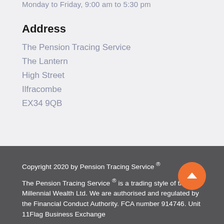Monday to Friday, 9:00 am to 5:30 pm
Address
The Pension Tracing Service
The Lantern
High Street
Ilfracombe
EX34 9QB
Copyright 2020 by Pension Tracing Service ®

The Pension Tracing Service ® is a trading style of the Millennial Wealth Ltd. We are authorised and regulated by the Financial Conduct Authority. FCA number 914746. Unit 11Flag Business Exchange